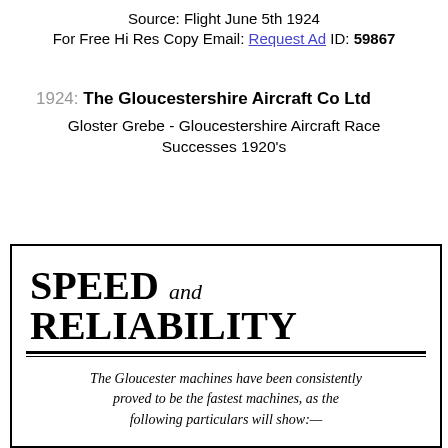Source: Flight June 5th 1924
For Free Hi Res Copy Email: Request Ad ID: 59867
1924: The Gloucestershire Aircraft Co Ltd
Gloster Grebe - Gloucestershire Aircraft Race Successes 1920's
[Figure (other): Vintage 1924 advertisement for Gloucestershire Aircraft Co Ltd showing headline 'SPEED and RELIABILITY' with italic body text and bold statistics about aircraft climb performance]
The Gloucester machines have been consistently proved to be the fastest machines, as the following particulars will show:—
19,500 FEET CLIMB IN 11 MINS. 34 SECS.